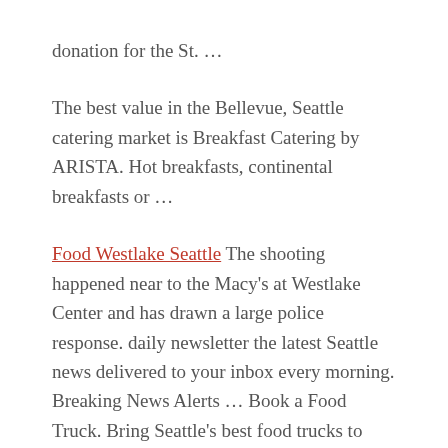donation for the St. …
The best value in the Bellevue, Seattle catering market is Breakfast Catering by ARISTA. Hot breakfasts, continental breakfasts or …
Food Westlake Seattle The shooting happened near to the Macy's at Westlake Center and has drawn a large police response. daily newsletter the latest Seattle news delivered to your inbox every morning. Breaking News Alerts … Book a Food Truck. Bring Seattle's best food trucks to your next event! Book a Food Truck Now! A new competitor in
Filed Under: Food